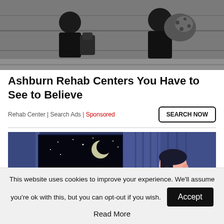[Figure (photo): Grayscale photo showing people sitting on steps with bags and belongings]
Ashburn Rehab Centers You Have to See to Believe
Rehab Center | Search Ads | Sponsored
SEARCH NOW
[Figure (illustration): Illustration of a man sitting in bed at night, looking toward a window showing a crescent moon and clouds, with blue curtains]
This website uses cookies to improve your experience. We'll assume you're ok with this, but you can opt-out if you wish. Accept Read More